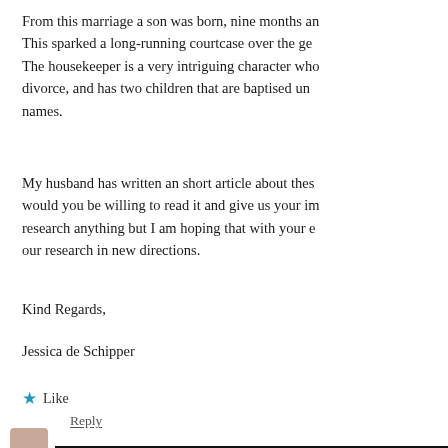From this marriage a son was born, nine months an... This sparked a long-running courtcase over the ge... The housekeeper is a very intriguing character who... divorce, and has two children that are baptised un... names.
My husband has written an short article about thes... would you be willing to read it and give us your im... research anything but I am hoping that with your e... our research in new directions.
Kind Regards,
Jessica de Schipper
Like
Reply